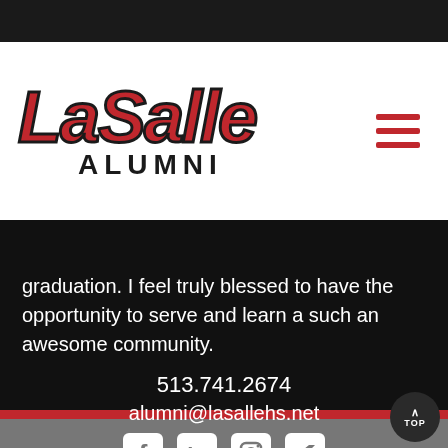Give
[Figure (logo): La Salle Alumni logo with large red italic LaSalle text and black ALUMNI text below]
graduation. I feel truly blessed to have the opportunity to serve and learn a such an awesome community.
513.741.2674
alumni@lasallehs.net
[Figure (infographic): Social media icons: Facebook, LinkedIn, Instagram, Twitter]
La Salle High School